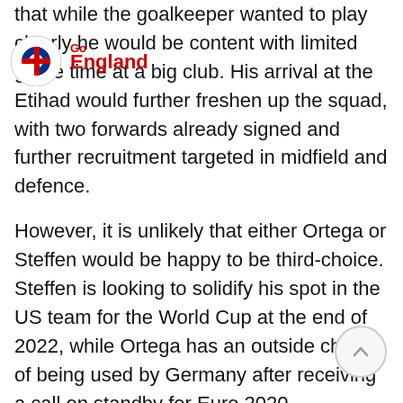[Figure (logo): GoEngland logo with circular GE emblem in red and blue, and red 'GoEngland' text]
that while the goalkeeper wanted to play clearly he would be content with limited game time at a big club. His arrival at the Etihad would further freshen up the squad, with two forwards already signed and further recruitment targeted in midfield and defence.
However, it is unlikely that either Ortega or Steffen would be happy to be third-choice. Steffen is looking to solidify his spot in the US team for the World Cup at the end of 2022, while Ortega has an outside chance of being used by Germany after receiving a call on standby for Euro 2020.
City are looking to conduct as much early business in the transfer market as they can ahead of the first team returning for pre-season training next month.